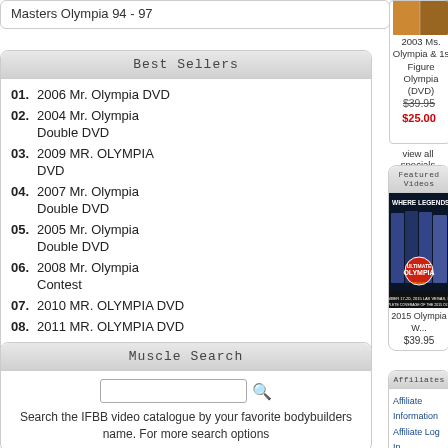Masters Olympia 94 - 97
Best Sellers
01. 2006 Mr. Olympia DVD
02. 2004 Mr. Olympia Double DVD
03. 2009 MR. OLYMPIA DVD
04. 2007 Mr. Olympia Double DVD
05. 2005 Mr. Olympia Double DVD
06. 2008 Mr. Olympia Contest
07. 2010 MR. OLYMPIA DVD
08. 2011 MR. OLYMPIA DVD
09. 2012 Mr. Olympia
10. 2004 Ms. Olympia, Fitness Olympia & Figure Olympia Double DVD
Muscle Search
Search the IFBB video catalogue by your favorite bodybuilders name. For more search options
[Figure (photo): DVD cover for 2003 Ms. Olympia and 1st Figure Olympia]
2003 Ms. Olympia & 1st Figure Olympia (DVD)
$39.95 (strikethrough) $25.00
view all specials
Featured Videos
[Figure (photo): 2015 Olympia Where Legends Are Made promotional image with bodybuilders]
2015 Olympia W...
$39.95
Affiliates
Affiliate Information
Affiliate Log In